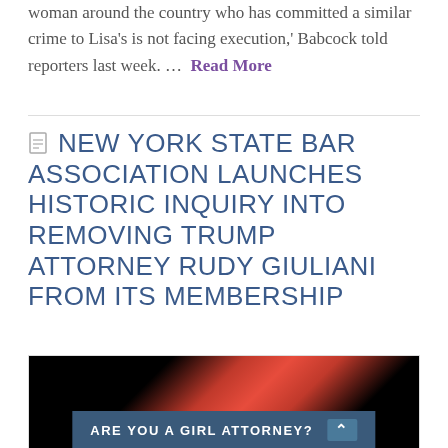woman around the country who has committed a similar crime to Lisa's is not facing execution,' Babcock told reporters last week. … Read More
NEW YORK STATE BAR ASSOCIATION LAUNCHES HISTORIC INQUIRY INTO REMOVING TRUMP ATTORNEY RUDY GIULIANI FROM ITS MEMBERSHIP
[Figure (photo): Dark background with diagonal red/pink light streaks, overlaid with a banner reading 'ARE YOU A GIRL ATTORNEY?']